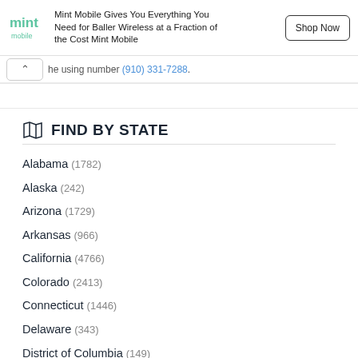[Figure (infographic): Mint Mobile advertisement banner with logo, text 'Mint Mobile Gives You Everything You Need for Baller Wireless at a Fraction of the Cost Mint Mobile', and a 'Shop Now' button]
he using number (910) 331-7288.
FIND BY STATE
Alabama (1782)
Alaska (242)
Arizona (1729)
Arkansas (966)
California (4766)
Colorado (2413)
Connecticut (1446)
Delaware (343)
District of Columbia (149)